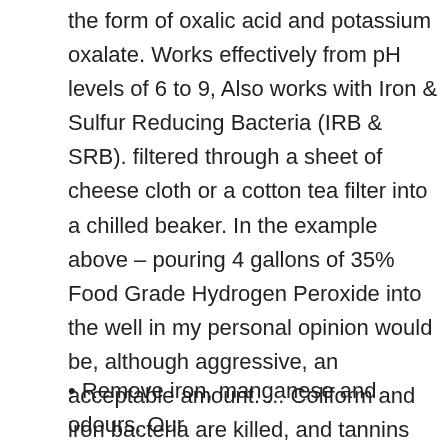the form of oxalic acid and potassium oxalate. Works effectively from pH levels of 6 to 9, Also works with Iron & Sulfur Reducing Bacteria (IRB & SRB). filtered through a sheet of cheese cloth or a cotton tea filter into a chilled beaker. In the example above – pouring 4 gallons of 35% Food Grade Hydrogen Peroxide into the well in my personal opinion would be, although aggressive, an acceptable amount. ... Coliform and iron bacteria are killed, and tannins are oxidized. Less hydrogen peroxide than chlorine is required to treat iron and sulfide. (The easy way is to use the calculator at http://www.pwgazette.com/feedpumpsizeandset.htm.
• Remove iron, manganese and odours. Our